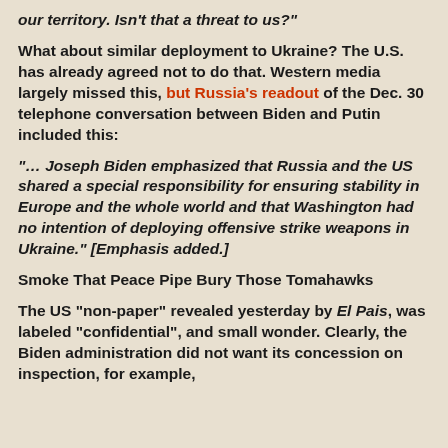our territory. Isn't that a threat to us?"
What about similar deployment to Ukraine? The U.S. has already agreed not to do that. Western media largely missed this, but Russia's readout of the Dec. 30 telephone conversation between Biden and Putin included this:
"… Joseph Biden emphasized that Russia and the US shared a special responsibility for ensuring stability in Europe and the whole world and that Washington had no intention of deploying offensive strike weapons in Ukraine." [Emphasis added.]
Smoke That Peace Pipe Bury Those Tomahawks
The US "non-paper" revealed yesterday by El Pais, was labeled "confidential", and small wonder. Clearly, the Biden administration did not want its concession on inspection, for example,